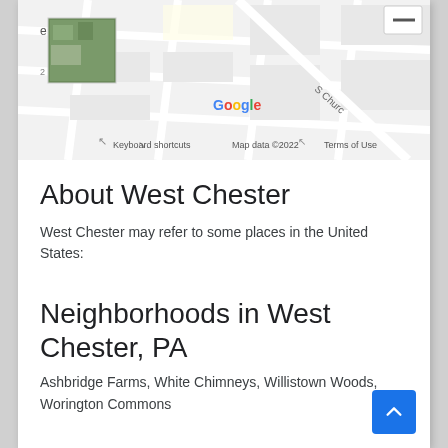[Figure (screenshot): Google Maps screenshot showing a street grid with a satellite thumbnail in the upper left, a minimize button in the upper right, Google branding, and map attribution text reading 'Keyboard shortcuts  Map data ©2022  Terms of Use']
About West Chester
West Chester may refer to some places in the United States:
Neighborhoods in West Chester, PA
Ashbridge Farms, White Chimneys, Willistown Woods, Worington Commons